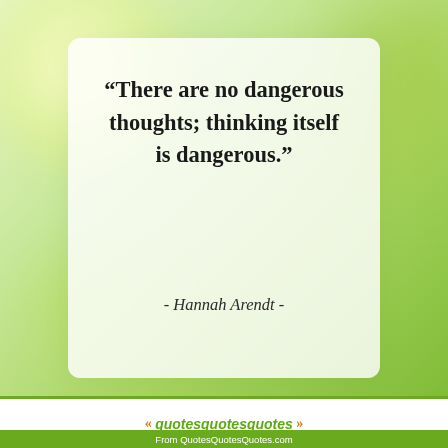[Figure (photo): Blurred green nature background with bokeh light effects, white rounded card overlay in center]
“There are no dangerous thoughts; thinking itself is dangerous.”
- Hannah Arendt -
« quotesquotesquotes» From QuotesQuotesQuotes.com